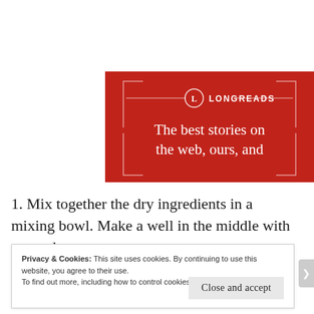[Figure (other): Longreads advertisement banner. Red background with white circle logo containing letter L, text LONGREADS, and tagline 'The best stories on the web, ours, and']
1. Mix together the dry ingredients in a mixing bowl. Make a well in the middle with a wooden spoon.
Privacy & Cookies: This site uses cookies. By continuing to use this website, you agree to their use.
To find out more, including how to control cookies, see here: Cookie Policy
Close and accept